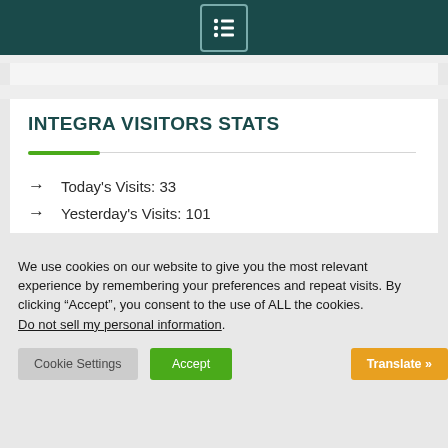[Figure (screenshot): Dark teal header bar with a menu icon (list icon in a bordered box) centered on it]
INTEGRA VISITORS STATS
Today's Visits: 33
Yesterday's Visits: 101
We use cookies on our website to give you the most relevant experience by remembering your preferences and repeat visits. By clicking “Accept”, you consent to the use of ALL the cookies. Do not sell my personal information.
Cookie Settings   Accept   Translate »